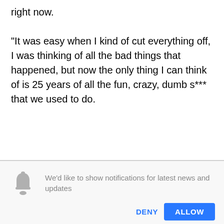right now.

"It was easy when I kind of cut everything off, I was thinking of all the bad things that happened, but now the only thing I can think of is 25 years of all the fun, crazy, dumb s*** that we used to do.
We'd like to show notifications for latest news and updates
DENY
ALLOW